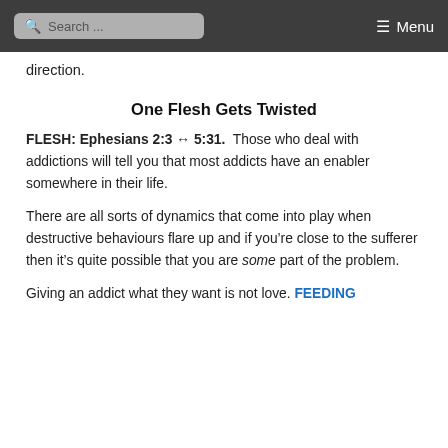Search ... Menu
direction.
One Flesh Gets Twisted
FLESH: Ephesians 2:3 ↔ 5:31.  Those who deal with addictions will tell you that most addicts have an enabler somewhere in their life.
There are all sorts of dynamics that come into play when destructive behaviours flare up and if you're close to the sufferer then it's quite possible that you are some part of the problem.
Giving an addict what they want is not love. FEEDING